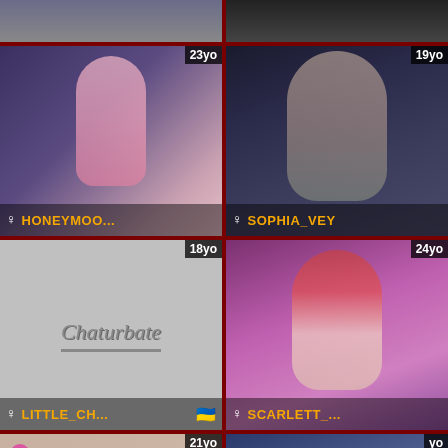[Figure (screenshot): Top-left partial webcam thumbnail, cropped at top]
[Figure (screenshot): Top-right partial webcam thumbnail, cropped at top]
[Figure (screenshot): Webcam thumbnail: HONEYMOO... 23yo female]
[Figure (screenshot): Webcam thumbnail: SOPHIA_VEY 19yo female]
[Figure (screenshot): Webcam thumbnail: LITTLE_CH... 18yo female, Ukraine flag, Chaturbate placeholder]
[Figure (screenshot): Webcam thumbnail: SCARLETT_... 24yo female]
[Figure (screenshot): Webcam thumbnail: 21yo female, partial]
[Figure (screenshot): Webcam thumbnail: yo female, partial]